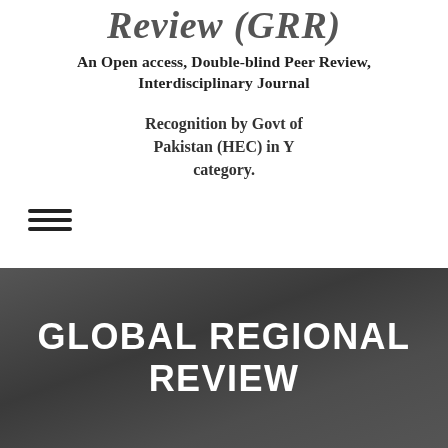Review (GRR)
An Open access, Double-blind Peer Review, Interdisciplinary Journal
Recognition by Govt of Pakistan (HEC) in Y category.
[Figure (other): Hamburger menu icon with three horizontal lines]
GLOBAL REGIONAL REVIEW